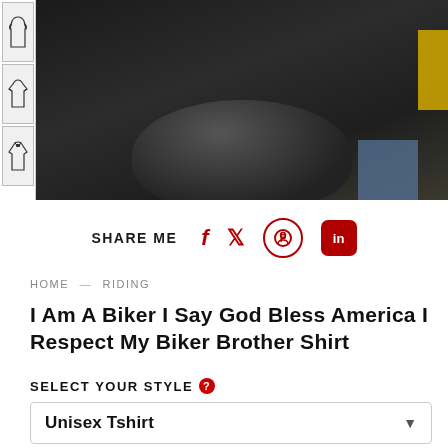[Figure (photo): Product page screenshot showing a biker wearing a black shirt, with thumbnail strip on the left showing clothing options (dress, long-sleeve shirt, hoodie)]
SHARE ME
HOME — RIDING
I Am A Biker I Say God Bless America I Respect My Biker Brother Shirt
SELECT YOUR STYLE
Unisex Tshirt